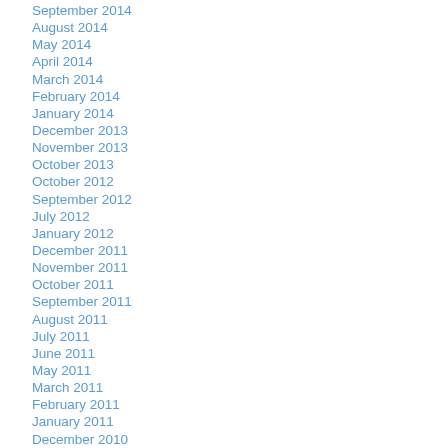September 2014
August 2014
May 2014
April 2014
March 2014
February 2014
January 2014
December 2013
November 2013
October 2013
October 2012
September 2012
July 2012
January 2012
December 2011
November 2011
October 2011
September 2011
August 2011
July 2011
June 2011
May 2011
March 2011
February 2011
January 2011
December 2010
November 2010